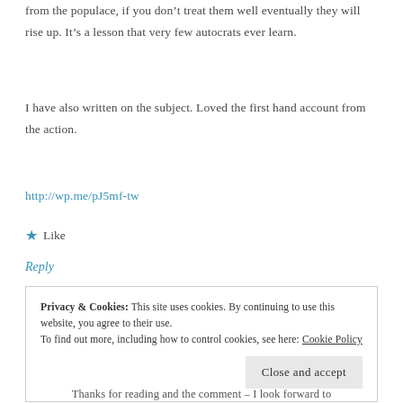from the populace, if you don’t treat them well eventually they will rise up. It’s a lesson that very few autocrats ever learn.
I have also written on the subject. Loved the first hand account from the action.
http://wp.me/pJ5mf-tw
★ Like
Reply
Privacy & Cookies: This site uses cookies. By continuing to use this website, you agree to their use.
To find out more, including how to control cookies, see here: Cookie Policy
Close and accept
Thanks for reading and the comment – I look forward to